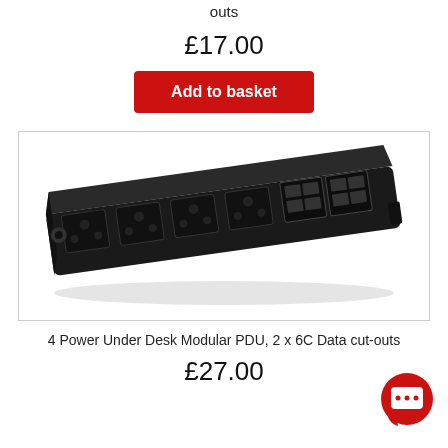outs
£17.00
Add to basket
[Figure (photo): Black under-desk modular PDU power strip with multiple UK sockets and data cutouts, viewed at an angle]
4 Power Under Desk Modular PDU, 2 x 6C Data cut-outs
£27.00